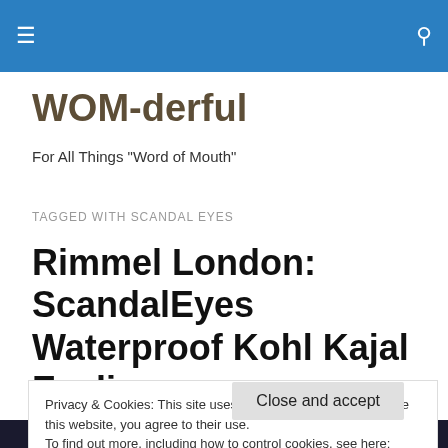WOM-derful — For All Things "Word of Mouth"
WOM-derful
For All Things "Word of Mouth"
TAGGED WITH SCANDAL EYES
Rimmel London: ScandalEyes Waterproof Kohl Kajal Eyeliner
Privacy & Cookies: This site uses cookies. By continuing to use this website, you agree to their use.
To find out more, including how to control cookies, see here: Cookie Policy
Close and accept